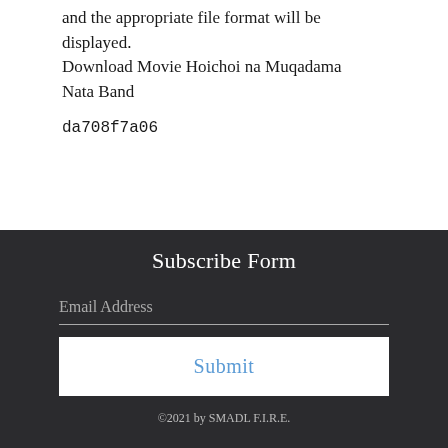and the appropriate file format will be displayed.
Download Movie Hoichoi na Muqadama Nata Band
da708f7a06
Subscribe Form
Email Address
Submit
©2021 by SMADL F.I.R.E.